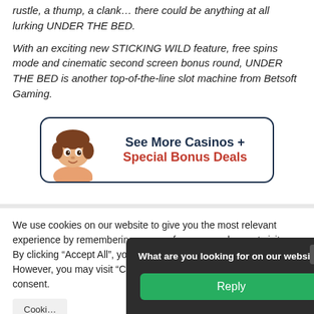rustle, a thump, a clank… there could be anything at all lurking UNDER THE BED.
With an exciting new STICKING WILD feature, free spins mode and cinematic second screen bonus round, UNDER THE BED is another top-of-the-line slot machine from Betsoft Gaming.
[Figure (infographic): Promotional banner with animated character and text: See More Casinos + Special Bonus Deals]
We use cookies on our website to give you the most relevant experience by remembering your preferences and repeat visits. By clicking "Accept All", you consent to the use of ALL the cookies. However, you may visit "Cookie Settings" to provide a controlled consent.
Cookie Settings
What are you looking for on our website? Reply